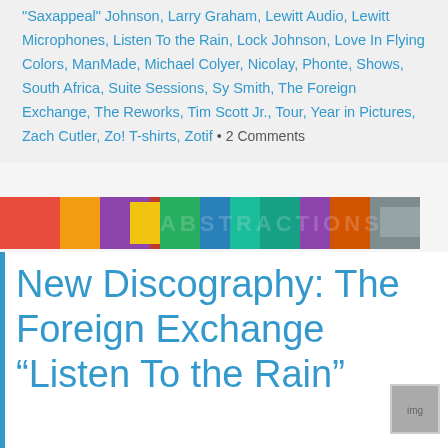"Saxappeal" Johnson, Larry Graham, Lewitt Audio, Lewitt Microphones, Listen To the Rain, Lock Johnson, Love In Flying Colors, ManMade, Michael Colyer, Nicolay, Phonte, Shows, South Africa, Suite Sessions, Sy Smith, The Foreign Exchange, The Reworks, Tim Scott Jr., Tour, Year in Pictures, Zach Cutler, Zo! T-shirts, Zotif • 2 Comments
[Figure (photo): Colorful abstract painting banner image with reds, blues, greens, yellows]
New Discography: The Foreign Exchange “Listen To the Rain”
Posted on September 22, 2013
The Foreign Exchange
"Listen To The Rain"